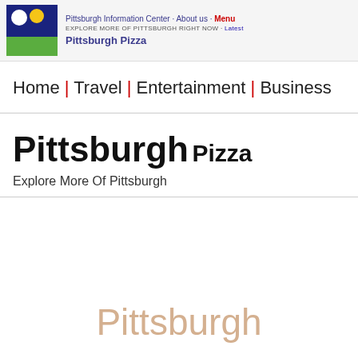Pittsburgh Information Center · About us · Menu | EXPLORE MORE OF PITTSBURGH RIGHT NOW · Latest | Pittsburgh Pizza
Home | Travel | Entertainment | Business
Pittsburgh Pizza
Explore More Of Pittsburgh
Pittsburgh